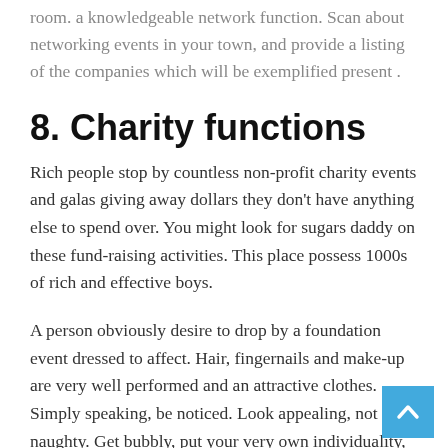room. a knowledgeable network function. Scan about networking events in your town, and provide a listing of the companies which will be exemplified present .
8. Charity functions
Rich people stop by countless non-profit charity events and galas giving away dollars they don't have anything else to spend over. You might look for sugars daddy on these fund-raising activities. This place possess 1000s of rich and effective boys.
A person obviously desire to drop by a foundation event dressed to affect. Hair, fingernails and make-up are very well performed and an attractive clothes. Simply speaking, be noticed. Look appealing, not naughty. Get bubbly, put your very own individuality, consult anyone, community, and